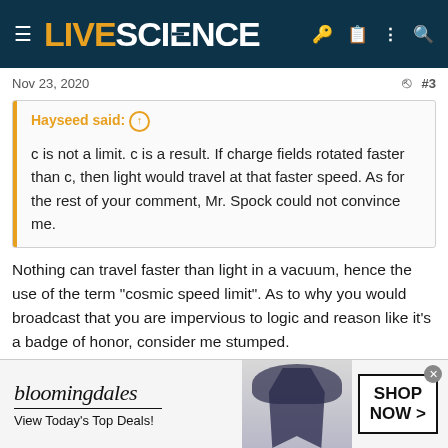LIVE SCIENCE
Nov 23, 2020   #3
Hayseed said: ⊕

c is not a limit. c is a result. If charge fields rotated faster than c, then light would travel at that faster speed. As for the rest of your comment, Mr. Spock could not convince me.
Nothing can travel faster than light in a vacuum, hence the use of the term "cosmic speed limit". As to why you would broadcast that you are impervious to logic and reason like it's a badge of honor, consider me stumped.
Finch
[Figure (screenshot): Bloomingdale's advertisement banner: 'View Today's Top Deals! SHOP NOW >']